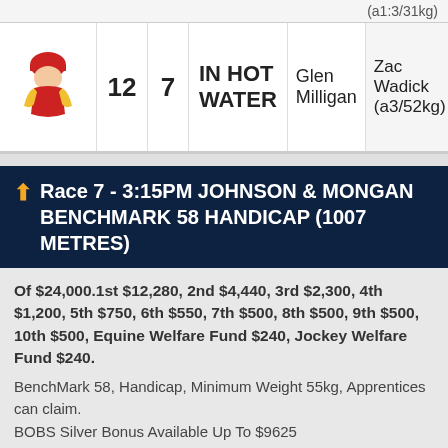(a1:3/31kg)
| Icon | No | Barrier | Horse | Trainer | Jockey |
| --- | --- | --- | --- | --- | --- |
| [jockey icon] | 12 | 7 | IN HOT WATER | Glen Milligan | Zac Wadick (a3/52kg) |
Race 7 - 3:15PM JOHNSON & MONGAN BENCHMARK 58 HANDICAP (1007 METRES)
Of $24,000.1st $12,280, 2nd $4,440, 3rd $2,300, 4th $1,200, 5th $750, 6th $550, 7th $500, 8th $500, 9th $500, 10th $500, Equine Welfare Fund $240, Jockey Welfare Fund $240.
BenchMark 58, Handicap, Minimum Weight 55kg, Apprentices can claim.
BOBS Silver Bonus Available Up To $9625
Track Name: Main Track Type: Turf Track Condition: Soft 7 Time: 0:59.08 Last 600m: 0:35.64 Timing Method: Electronic